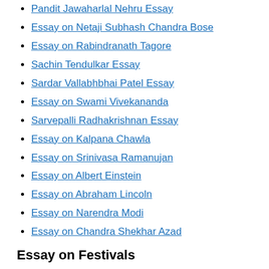Pandit Jawaharlal Nehru Essay
Essay on Netaji Subhash Chandra Bose
Essay on Rabindranath Tagore
Sachin Tendulkar Essay
Sardar Vallabhbhai Patel Essay
Essay on Swami Vivekananda
Sarvepalli Radhakrishnan Essay
Essay on Kalpana Chawla
Essay on Srinivasa Ramanujan
Essay on Albert Einstein
Essay on Abraham Lincoln
Essay on Narendra Modi
Essay on Chandra Shekhar Azad
Essay on Festivals